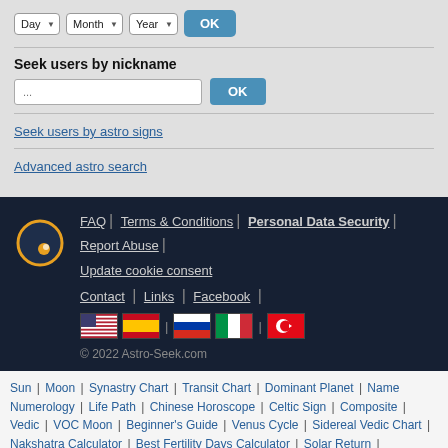Day | Month | Year | OK (date selector dropdowns)
Seek users by nickname
... (search input) OK
Seek users by astro signs
Advanced astro search
FAQ | Terms & Conditions | Personal Data Security | Report Abuse | Update cookie consent | Contact | Links | Facebook | © 2022 Astro-Seek.com
Sun | Moon | Synastry Chart | Transit Chart | Dominant Planet | Name Numerology | Life Path | Chinese Horoscope | Celtic Sign | Composite | Vedic | VOC Moon | Beginner's Guide | Venus Cycle | Sidereal Vedic Chart | Nakshatra Calculator | Best Fertility Days Calculator | Solar Return | Rectification | Full Moon August, September | Astro Calendar | Ephemeris |